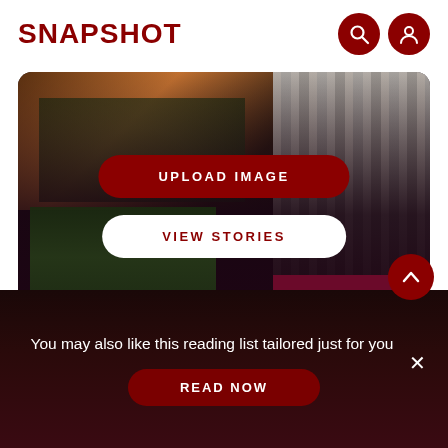SNAPSHOT
[Figure (screenshot): App interface showing image collage with city/architecture photos, UPLOAD IMAGE button and VIEW STORIES button on dark background card]
UPLOAD IMAGE
VIEW STORIES
You may also like this reading list tailored just for you
READ NOW